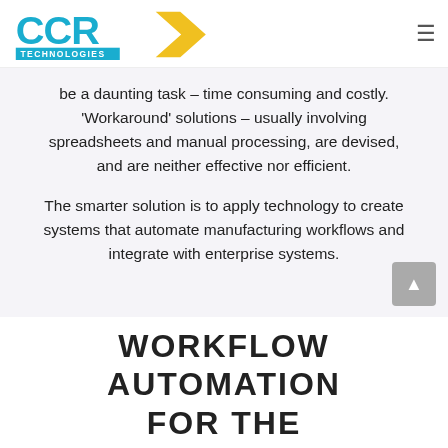CCR Technologies
be a daunting task – time consuming and costly. 'Workaround' solutions – usually involving spreadsheets and manual processing, are devised, and are neither effective nor efficient.
The smarter solution is to apply technology to create systems that automate manufacturing workflows and integrate with enterprise systems.
WORKFLOW AUTOMATION FOR THE